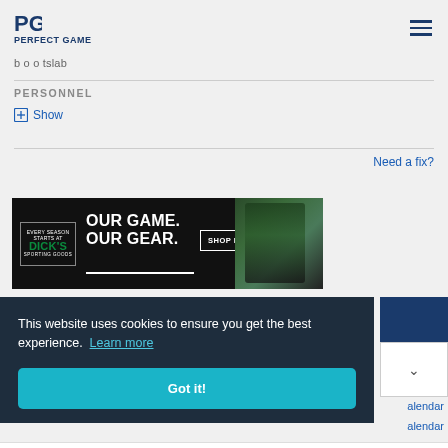PERFECT GAME
b o o tslab
PERSONNEL
+ Show
Need a fix?
[Figure (photo): Dick's Sporting Goods advertisement banner. Text reads: OUR GAME. OUR GEAR. SHOP NOW. Features Dick's Sporting Goods logo and a photo of a baseball player.]
This website uses cookies to ensure you get the best experience. Learn more
Got it!
alendar
alendar